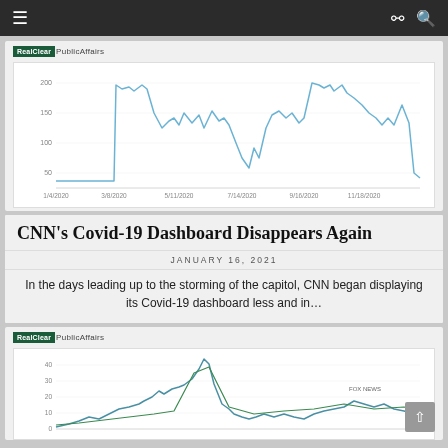≡  ⊗ 🔍
[Figure (continuous-plot): Line chart showing CNN Covid-19 dashboard display frequency over time from 1/4/2020 to late 2020, with a prominent rise around 3/8/2020 and peaks and valleys through 11/18/2020]
CNN's Covid-19 Dashboard Disappears Again
JANUARY 16, 2021
In the days leading up to the storming of the capitol, CNN began displaying its Covid-19 dashboard less and in…
[Figure (continuous-plot): Second line chart from RealClear Public Affairs showing multiple data series (including Fox News) with a large spike in the middle of the time range]